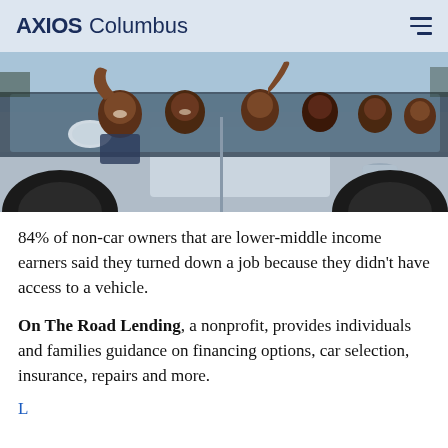AXIOS Columbus
[Figure (photo): A group of smiling people waving from inside a silver SUV, shot from outside the vehicle showing the side door and windows.]
84% of non-car owners that are lower-middle income earners said they turned down a job because they didn't have access to a vehicle.
On The Road Lending, a nonprofit, provides individuals and families guidance on financing options, car selection, insurance, repairs and more.